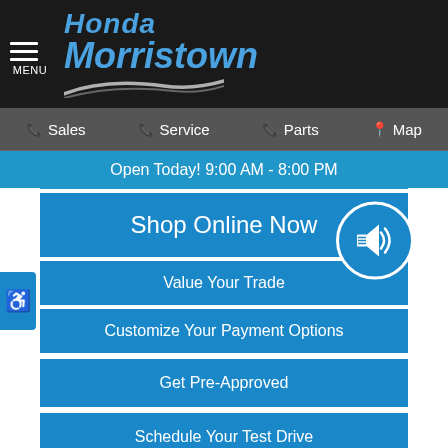[Figure (logo): Honda Morristown dealership logo with blue italic text and swoosh graphic on black background]
Sales   Service   Parts   Map
Open Today! 9:00 AM - 8:00 PM
Shop Online Now
Value Your Trade
Customize Your Payment Options
Get Pre-Approved
Schedule Your Test Drive
[Figure (other): CarStory widget showing 'This vehicle is a GOOD DEAL']
Ext. Color: White    Int. Color: Black
Transmission: Continuously Variable    Mileage: 66,641